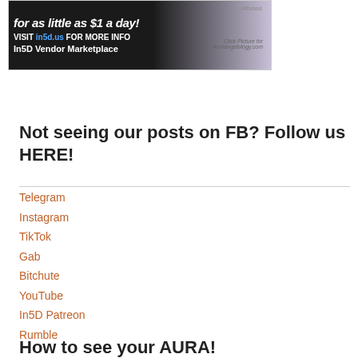[Figure (infographic): Advertisement banner for In5D Vendor Marketplace / Archangelology.com. Text: 'for as little as $1 a day! VISIT in5d.us FOR MORE INFO In5D Vendor Marketplace'. Right side shows rainbow-style graphic and text 'r4frshed.' and 'Click Picture for Archangelology.com']
Not seeing our posts on FB? Follow us HERE!
Telegram
Instagram
TikTok
Gab
Bitchute
YouTube
In5D Patreon
Rumble
How to see your AURA!